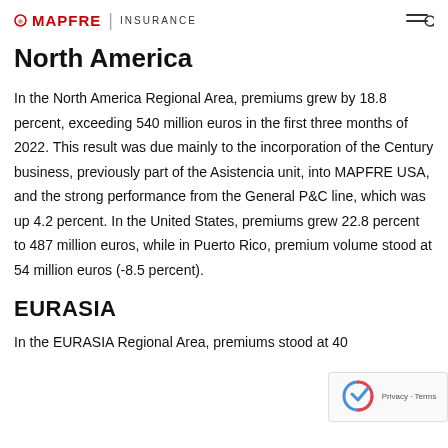MAPFRE INSURANCE
North America
In the North America Regional Area, premiums grew by 18.8 percent, exceeding 540 million euros in the first three months of 2022. This result was due mainly to the incorporation of the Century business, previously part of the Asistencia unit, into MAPFRE USA, and the strong performance from the General P&C line, which was up 4.2 percent. In the United States, premiums grew 22.8 percent to 487 million euros, while in Puerto Rico, premium volume stood at 54 million euros (-8.5 percent).
EURASIA
In the EURASIA Regional Area, premiums stood at 40...